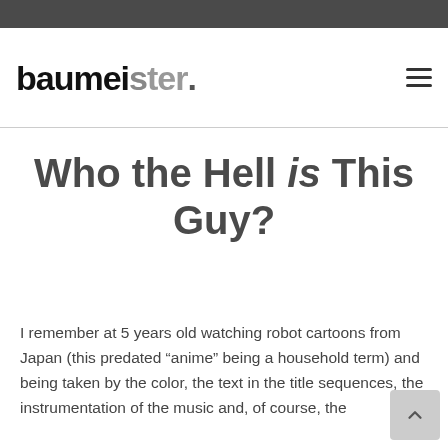baumeister.
Who the Hell is This Guy?
I remember at 5 years old watching robot cartoons from Japan (this predated “anime” being a household term) and being taken by the color, the text in the title sequences, the instrumentation of the music and, of course, the